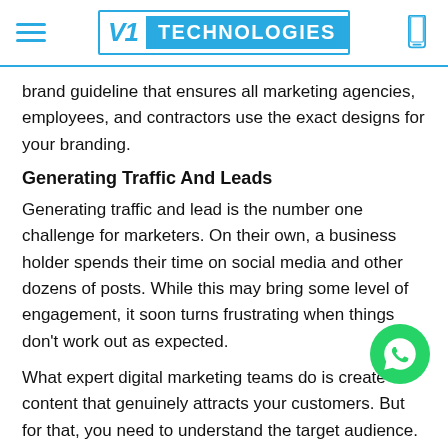V1 TECHNOLOGIES
brand guideline that ensures all marketing agencies, employees, and contractors use the exact designs for your branding.
Generating Traffic And Leads
Generating traffic and lead is the number one challenge for marketers. On their own, a business holder spends their time on social media and other dozens of posts. While this may bring some level of engagement, it soon turns frustrating when things don't work out as expected.
What expert digital marketing teams do is create content that genuinely attracts your customers. But for that, you need to understand the target audience. Trained marketers develop buyer's personas via surveys and research. Now once you get a decent idea, you may kick start the campaign. This typically includes